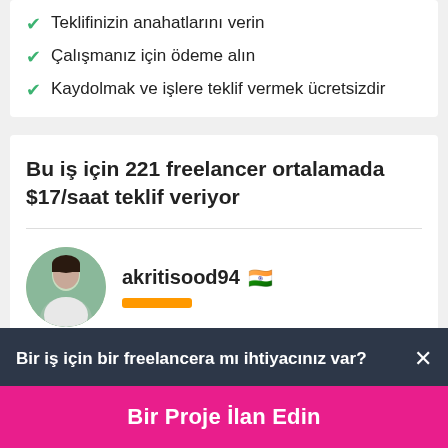Teklifinizin anahatlarını verin
Çalışmanız için ödeme alın
Kaydolmak ve işlere teklif vermek ücretsizdir
Bu iş için 221 freelancer ortalamada $17/saat teklif veriyor
akritisood94 🇮🇳
Bir iş için bir freelancera mı ihtiyacınız var? ×
Bir Proje İlan Edin